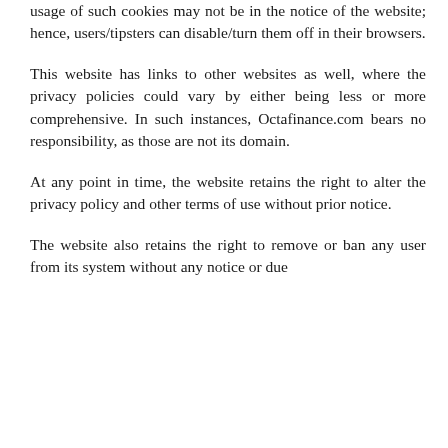usage of such cookies may not be in the notice of the website; hence, users/tipsters can disable/turn them off in their browsers.
This website has links to other websites as well, where the privacy policies could vary by either being less or more comprehensive. In such instances, Octafinance.com bears no responsibility, as those are not its domain.
At any point in time, the website retains the right to alter the privacy policy and other terms of use without prior notice.
The website also retains the right to remove or ban any user from its system without any notice or due